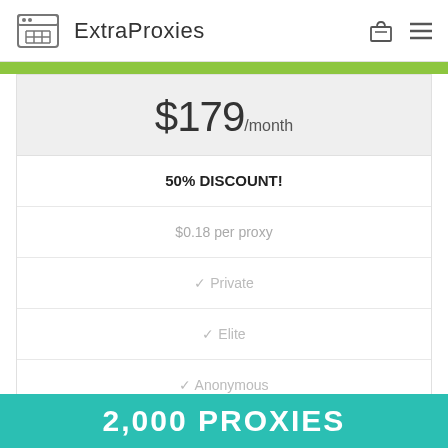ExtraProxies
$179/month
50% DISCOUNT!
$0.18 per proxy
✓ Private
✓ Elite
✓ Anonymous
BUY NOW
2,000 PROXIES